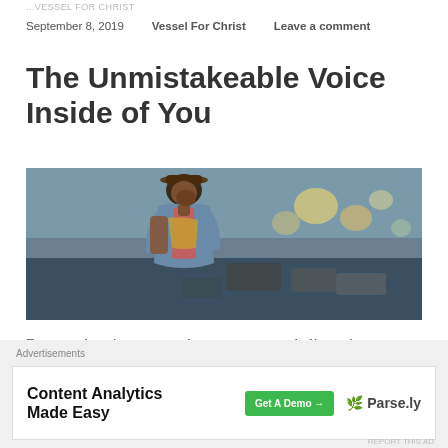...VESSEL FOR CHRIST
September 8, 2019    Vessel For Christ    Leave a comment
The Unmistakeable Voice Inside of You
[Figure (photo): A man wearing a hat and denim jacket with a backpack, walking on a busy city street with blurred cars and traffic in the background]
Everyone's voice matters, but not everyone believes in
Advertisements
Content Analytics Made Easy   Get A Demo →   🌿 Parse.ly